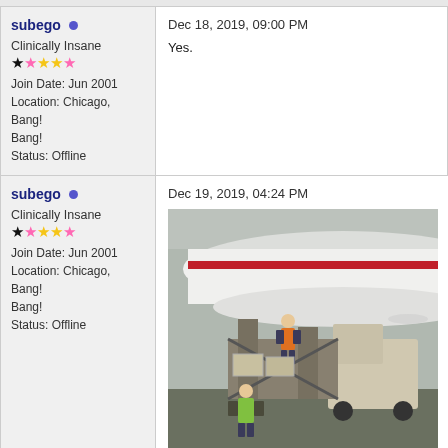subego • Clinically Insane, Join Date: Jun 2001, Location: Chicago, Bang! Bang!, Status: Offline
Dec 18, 2019, 09:00 PM
Yes.
subego • Clinically Insane, Join Date: Jun 2001, Location: Chicago, Bang! Bang!, Status: Offline
Dec 19, 2019, 04:24 PM
[Figure (photo): Ground crew loading cargo onto an aircraft. A worker in an orange vest stands on cargo equipment near the open belly of a white aircraft with a red stripe. Another worker in a green vest stands below. A truck is visible in the background.]